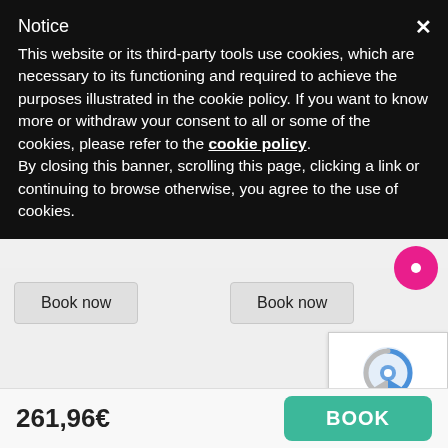Notice
This website or its third-party tools use cookies, which are necessary to its functioning and required to achieve the purposes illustrated in the cookie policy. If you want to know more or withdraw your consent to all or some of the cookies, please refer to the cookie policy. By closing this banner, scrolling this page, clicking a link or continuing to browse otherwise, you agree to the use of cookies.
Book now
Book now
[Figure (logo): reCAPTCHA widget with logo and Privacy/Terms links]
BOOKING CONDITIONS
261,96€
BOOK